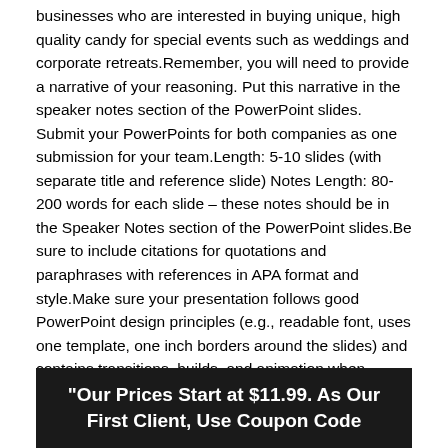businesses who are interested in buying unique, high quality candy for special events such as weddings and corporate retreats.Remember, you will need to provide a narrative of your reasoning. Put this narrative in the speaker notes section of the PowerPoint slides. Submit your PowerPoints for both companies as one submission for your team.Length: 5-10 slides (with separate title and reference slide) Notes Length: 80-200 words for each slide – these notes should be in the Speaker Notes section of the PowerPoint slides.Be sure to include citations for quotations and paraphrases with references in APA format and style.Make sure your presentation follows good PowerPoint design principles (e.g., readable font, uses one template, one inch borders around the slides) and contains transitions, builds, and animation when appropriate.The first slide in the presentation should be the title page. The last slide(s) in the presentation should be the list of references you used for the assignment in APA format. All assertions in your submission must have citations and references.
"Our Prices Start at $11.99. As Our First Client, Use Coupon Code